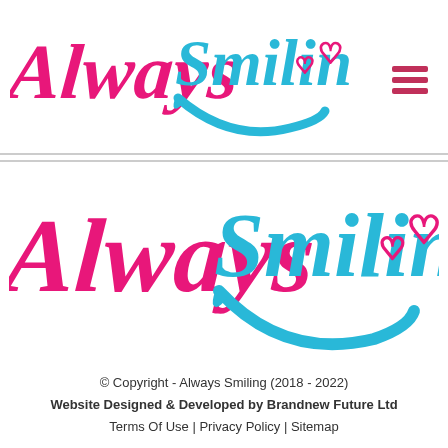[Figure (logo): Always Smiling logo in header — 'Always' in pink script, 'Smiling' in cyan script with a smile swash, followed by two small heart outlines in pink]
[Figure (logo): Always Smiling logo large — 'Always' in pink script, 'Smiling' in cyan script with a smile swash, followed by two small heart outlines in pink]
© Copyright - Always Smiling (2018 - 2022)
Website Designed & Developed by Brandnew Future Ltd
Terms Of Use | Privacy Policy | Sitemap